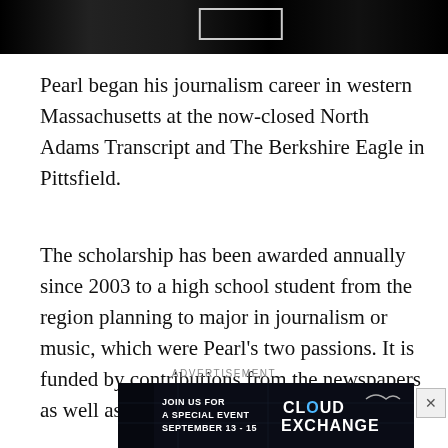[Figure (photo): Dark/black and white photo strip at top of page, partially cropped, showing what appears to be a stage or event setting with a bright rectangular element]
Pearl began his journalism career in western Massachusetts at the now-closed North Adams Transcript and The Berkshire Eagle in Pittsfield.
The scholarship has been awarded annually since 2003 to a high school student from the region planning to major in journalism or music, which were Pearl's two passions. It is funded by contributions from the newspapers as well as Pearl's friends and colleagues.
ADVERTISEMENT
[Figure (photo): Dark advertisement banner for Cloud Exchange event with text: JOIN US FOR A SPECIAL EVENT SEPTEMBER 13 - 15 and CLOUD EXCHANGE logo]